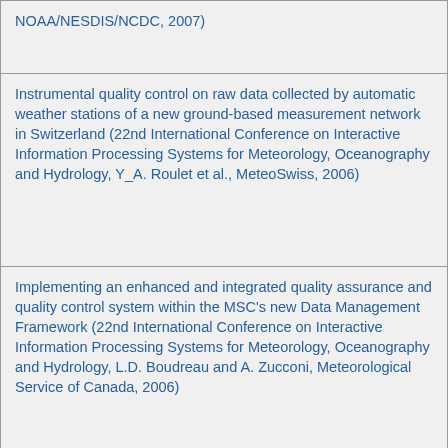NOAA/NESDIS/NCDC, 2007)
Instrumental quality control on raw data collected by automatic weather stations of a new ground-based measurement network in Switzerland (22nd International Conference on Interactive Information Processing Systems for Meteorology, Oceanography and Hydrology, Y_A. Roulet et al., MeteoSwiss, 2006)
Implementing an enhanced and integrated quality assurance and quality control system within the MSC's new Data Management Framework (22nd International Conference on Interactive Information Processing Systems for Meteorology, Oceanography and Hydrology, L.D. Boudreau and A. Zucconi, Meteorological Service of Canada, 2006)
The design of a quality control algorithm for environmental sensor stations (22nd International Conference on Interactive Information Processing Systems for Meteorology, Oceanography and Hydrology, ...